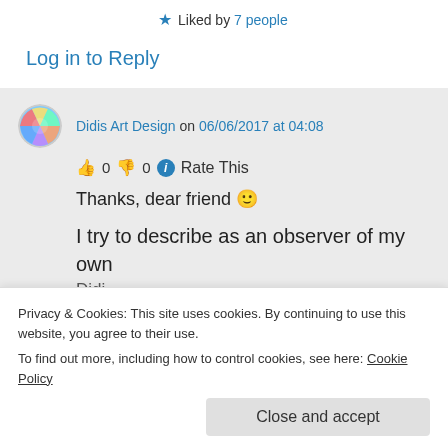Liked by 7 people
Log in to Reply
Didis Art Design on 06/06/2017 at 04:08
👍 0 👎 0 ℹ Rate This
Thanks, dear friend 🙂
I try to describe as an observer of my own
Didi
Privacy & Cookies: This site uses cookies. By continuing to use this website, you agree to their use.
To find out more, including how to control cookies, see here: Cookie Policy
Close and accept